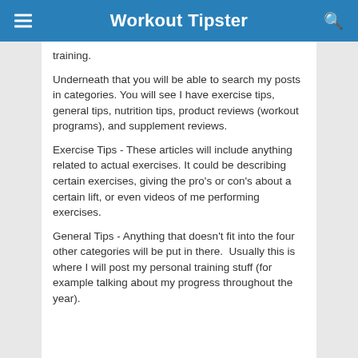Workout Tipster
training.
Underneath that you will be able to search my posts in categories.  You will see I have exercise tips, general tips, nutrition tips, product reviews (workout programs), and supplement reviews.
Exercise Tips - These articles will include anything related to actual exercises.  It could be describing certain exercises, giving the pro's or con's about a certain lift, or even videos of me performing exercises.
General Tips - Anything that doesn't fit into the four other categories will be put in there.  Usually this is where I will post my personal training stuff (for example talking about my progress throughout the year).